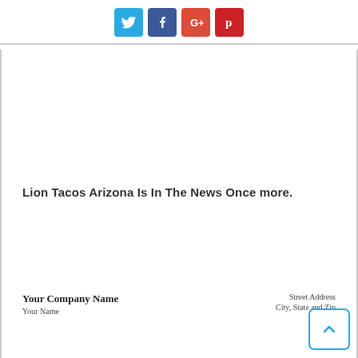[Figure (other): Social media sharing icons: Twitter (blue), Facebook (dark blue), Google+ (red-orange), Pinterest (dark red)]
Lion Tacos Arizona Is In The News Once more.
[Figure (other): Partial letterhead showing 'Your Company Name', 'Your Name' on the left and 'Street Address', 'City, State and Zip' on the right]